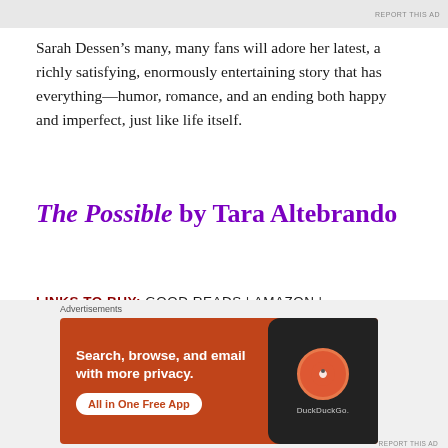[Figure (screenshot): Top advertisement banner with light gray background and 'REPORT THIS AD' label in top right]
Sarah Dessen’s many, many fans will adore her latest, a richly satisfying, enormously entertaining story that has everything—humor, romance, and an ending both happy and imperfect, just like life itself.
The Possible by Tara Altebrando
LINKS TO BUY: GOOD READS | AMAZON | INDIGO | BOOK DEPOSITORY | BARNES & NOBLE
[Figure (screenshot): DuckDuckGo advertisement banner: orange background with text 'Search, browse, and email with more privacy. All in One Free App' and DuckDuckGo logo on phone mockup]
REPORT THIS AD